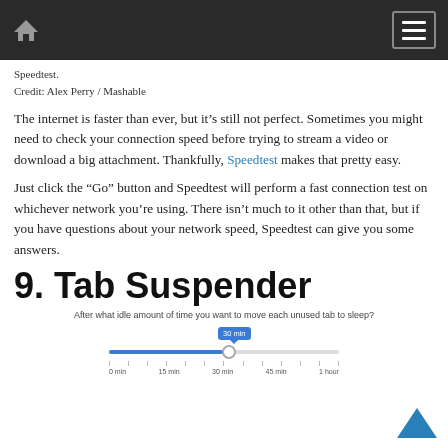Speedtest.
Credit: Alex Perry / Mashable
The internet is faster than ever, but it’s still not perfect. Sometimes you might need to check your connection speed before trying to stream a video or download a big attachment. Thankfully, Speedtest makes that pretty easy.
Just click the “Go” button and Speedtest will perform a fast connection test on whichever network you’re using. There isn’t much to it other than that, but if you have questions about your network speed, Speedtest can give you some answers.
9. Tab Suspender
[Figure (screenshot): Screenshot of Tab Suspender settings slider. Text reads 'After what idle amount of time you want to move each unused tab to sleep?' with a slider set to 30 min, ranging from 0 min to 15 min to 30 min to 45 min to 1 hour.]